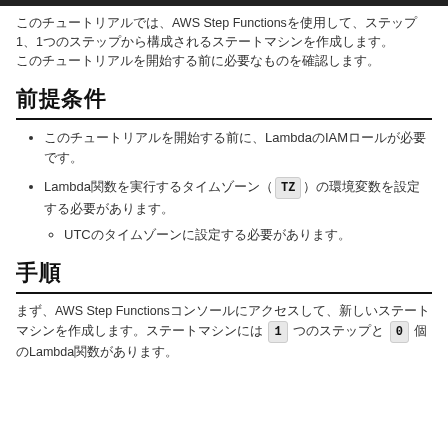このチュートリアルでは、AWS Step Functionsを使用して、ステップ1、1つのステップから構成されるステートマシンを作成します。
前提条件
このチュートリアルを開始する前に、LambdaのIAMロールが必要です。
Lambda関数を実行するタイムゾーン ( TZ ) の環境変数を設定する必要があります。
UTCのタイムゾーンに設定する必要があります。
手順
まず、AWS Step Functionsコンソールにアクセスして、新しいステートマシンを作成します。ステートマシンには 1 つのステップと 0 個のLambda関数があります。